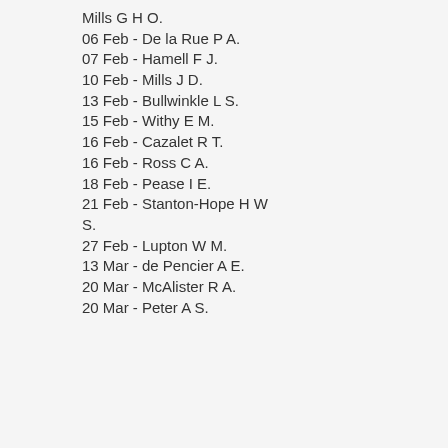Mills G H O.
06 Feb - De la Rue P A.
07 Feb - Hamell F J.
10 Feb - Mills J D.
13 Feb - Bullwinkle L S.
15 Feb - Withy E M.
16 Feb - Cazalet R T.
16 Feb - Ross C A.
18 Feb - Pease I E.
21 Feb - Stanton-Hope H W S.
27 Feb - Lupton W M.
13 Mar - de Pencier A E.
20 Mar - McAlister R A.
20 Mar - Peter A S.